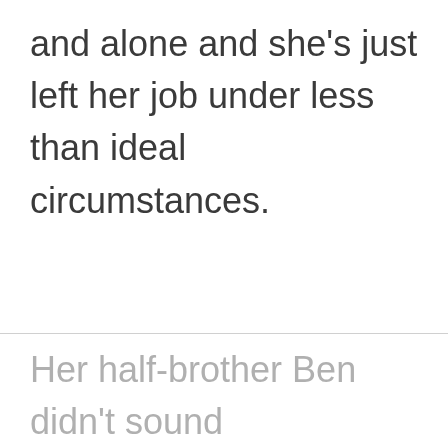and alone and she's just left her job under less than ideal circumstances.
Her half-brother Ben didn't sound